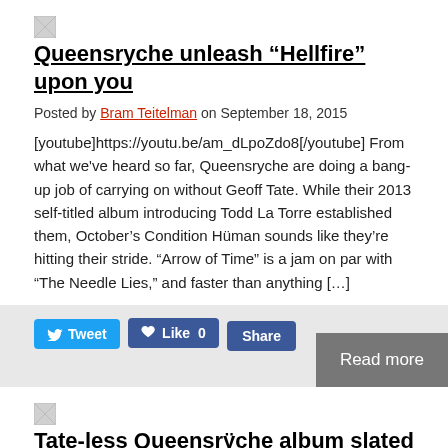[Figure (illustration): Broken image thumbnail placeholder]
Queensryche unleash “Hellfire” upon you
Posted by Bram Teitelman on September 18, 2015
[youtube]https://youtu.be/am_dLpoZdo8[/youtube] From what we've heard so far, Queensryche are doing a bang-up job of carrying on without Geoff Tate. While their 2013 self-titled album introducing Todd La Torre established them, October’s Condition Hüman sounds like they’re hitting their stride. “Arrow of Time” is a jam on par with “The Needle Lies,” and faster than anything […]
[Figure (illustration): Broken image thumbnail placeholder for second article]
Tate-less Queensrÿche album slated for October release